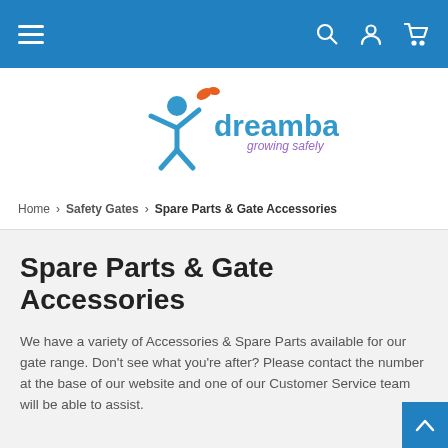Navigation bar with hamburger menu, search, account, and cart icons
[Figure (logo): Dreambaby logo with blue figure, orange butterfly, and tagline 'growing safely']
Home > Safety Gates > Spare Parts & Gate Accessories
Spare Parts & Gate Accessories
We have a variety of Accessories & Spare Parts available for our gate range. Don't see what you're after? Please contact the number at the base of our website and one of our Customer Service team will be able to assist.